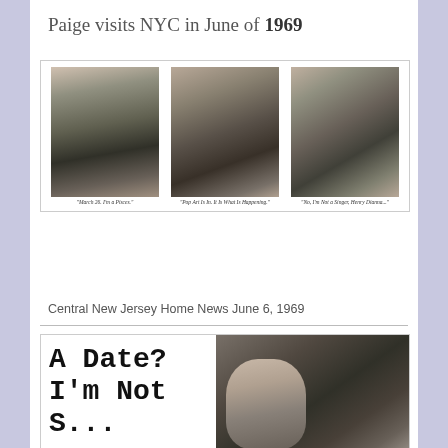Paige visits NYC in June of 1969
[Figure (photo): Three black-and-white portrait photos of Paige side by side, each with a small italic caption below. Left caption: 'March 26. I'm a Pisces.' Center caption: 'Pop Art Is In. It Is What Is Happening.' Right caption: 'No, I'm Not a Singer, Henry Dianna...']
Central New Jersey Home News June 6, 1969
[Figure (photo): Newspaper clipping showing large bold text on left reading 'A Date? I'm Not S...' and a black-and-white photo on the right of a woman in profile.]